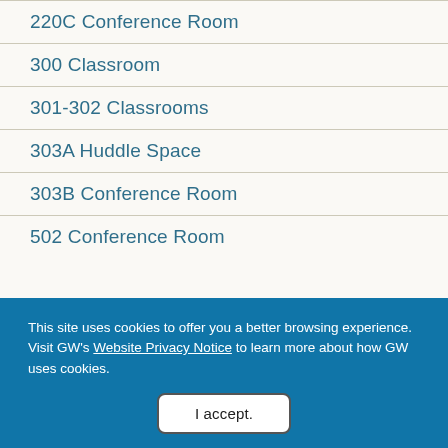220C Conference Room
300 Classroom
301-302 Classrooms
303A Huddle Space
303B Conference Room
502 Conference Room
This site uses cookies to offer you a better browsing experience. Visit GW's Website Privacy Notice to learn more about how GW uses cookies.
I accept.